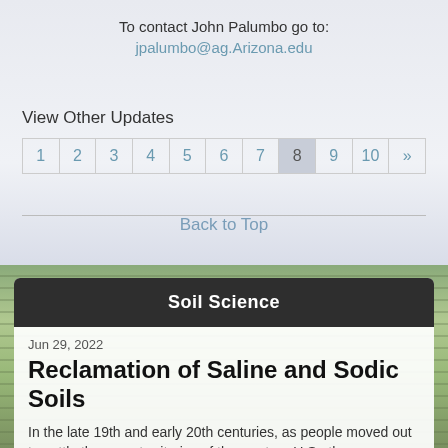To contact John Palumbo go to:
jpalumbo@ag.Arizona.edu
View Other Updates
| 1 | 2 | 3 | 4 | 5 | 6 | 7 | 8 | 9 | 10 | » |
| --- | --- | --- | --- | --- | --- | --- | --- | --- | --- | --- |
Back to Top
Soil Science
Jun 29, 2022
Reclamation of Saline and Sodic Soils
In the late 19th and early 20th centuries, as people moved out to settle the open territories of the western U.S., the development of lands for agriculture was a